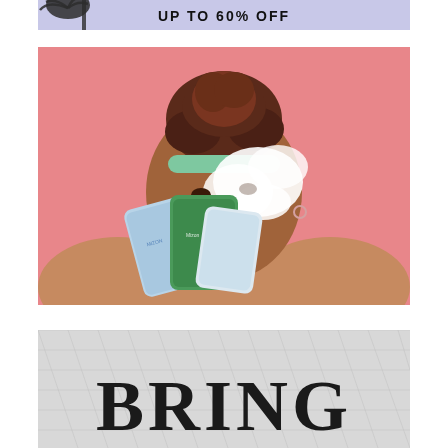[Figure (illustration): Promotional banner with palm tree graphic and text 'UP TO 60% OFF' on a light lavender/purple background, partially cropped at top]
[Figure (photo): Woman with curly hair in a green headband, face covered in white foam/cleanser, smiling and holding multiple skincare product packets (green, blue/white) against a pink background]
[Figure (photo): Silver/white quilted handbag or cosmetic bag with text 'BRING' visible in large black letters, partially cropped at bottom of page]